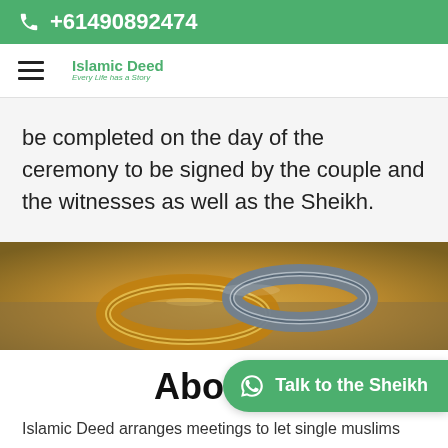+61490892474
[Figure (logo): Islamic Deed logo with tagline 'Every Life has a Story']
be completed on the day of the ceremony to be signed by the couple and the witnesses as well as the Sheikh.
[Figure (photo): Two gold and silver wedding rings resting on a textured surface]
About U
Islamic Deed arranges meetings to let single muslims